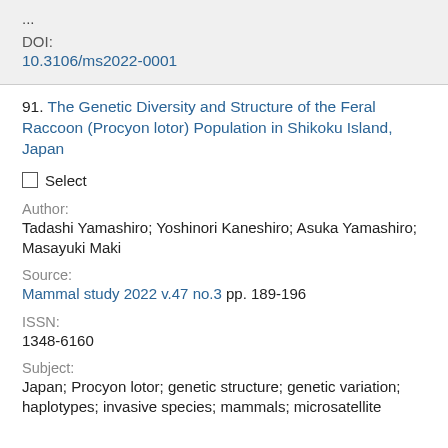...
DOI:
10.3106/ms2022-0001
91. The Genetic Diversity and Structure of the Feral Raccoon (Procyon lotor) Population in Shikoku Island, Japan
Select
Author:
Tadashi Yamashiro; Yoshinori Kaneshiro; Asuka Yamashiro; Masayuki Maki
Source:
Mammal study 2022 v.47 no.3 pp. 189-196
ISSN:
1348-6160
Subject:
Japan; Procyon lotor; genetic structure; genetic variation; haplotypes; invasive species; mammals; microsatellite